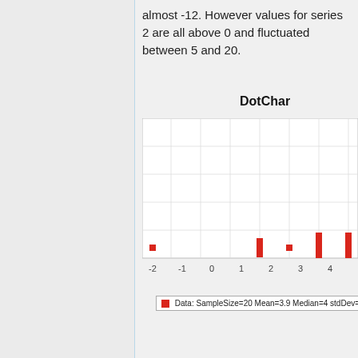almost -12. However values for series 2 are all above 0 and fluctuated between 5 and 20.
[Figure (scatter-plot): Dot chart showing data distribution. X-axis from -2 to 4+. Red square dots plotted at various x positions. Legend: Data: SampleSize=20 Mean=3.9 Median=4 stdDev=2...]
Data: SampleSize=20 Mean=3.9 Median=4 stdDev=2.